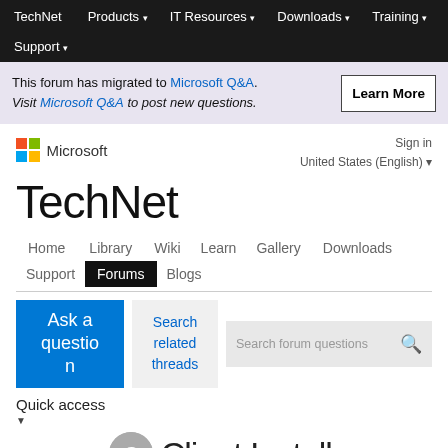TechNet  Products  IT Resources  Downloads  Training  Support
This forum has migrated to Microsoft Q&A. Visit Microsoft Q&A to post new questions.
[Figure (screenshot): Microsoft logo with colored squares and Microsoft text, Sign in, United States (English) locale selector]
TechNet
Home  Library  Wiki  Learn  Gallery  Downloads  Support  Forums  Blogs
Ask a question
Search related threads
Search forum questions
Quick access
Answered
Client Install